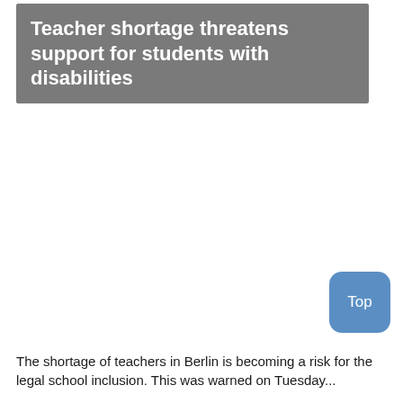Teacher shortage threatens support for students with disabilities
The shortage of teachers in Berlin is becoming a risk for the legal school inclusion. This was warned on Tuesday...